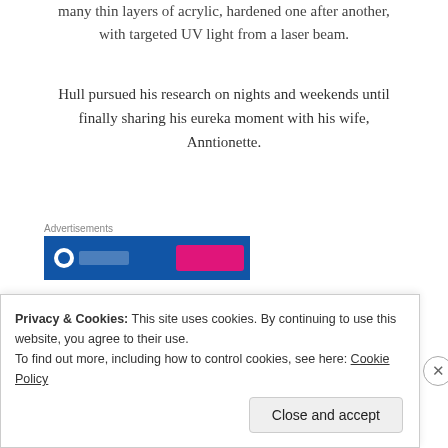many thin layers of acrylic, hardened one after another, with targeted UV light from a laser beam.
Hull pursued his research on nights and weekends until finally sharing his eureka moment with his wife, Anntionette.
[Figure (other): Advertisement banner with blue background and pink button, partially visible.]
“I did it,” he told her simply.
Chuck Hull, inventor of the 3D printer
Privacy & Cookies: This site uses cookies. By continuing to use this website, you agree to their use. To find out more, including how to control cookies, see here: Cookie Policy